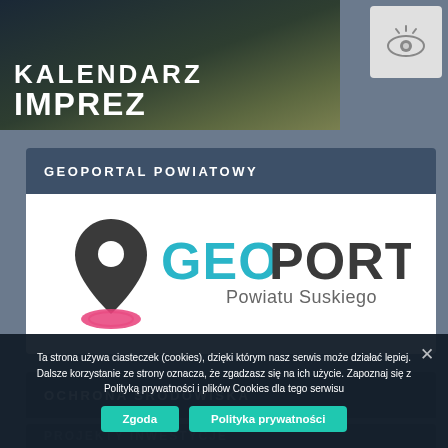[Figure (illustration): Dark mountain landscape banner with text KALENDARZ IMPREZ in white bold uppercase letters]
[Figure (illustration): Eye icon in a light grey box, top right corner]
GEOPORTAL POWIATOWY
[Figure (logo): GeoPortal logo: location pin icon in dark grey with pink oval base, text GEOPORTAL in teal/blue large font, subtitle Powiatu Suskiego in grey]
OCHRONA ŚRODOWISKA
Ta strona używa ciasteczek (cookies), dzięki którym nasz serwis może działać lepiej. Dalsze korzystanie ze strony oznacza, że zgadzasz się na ich użycie. Zapoznaj się z Polityką prywatności i plików Cookies dla tego serwisu
Zgoda
Polityka prywatności
PROJEKTY INWESTYCJE